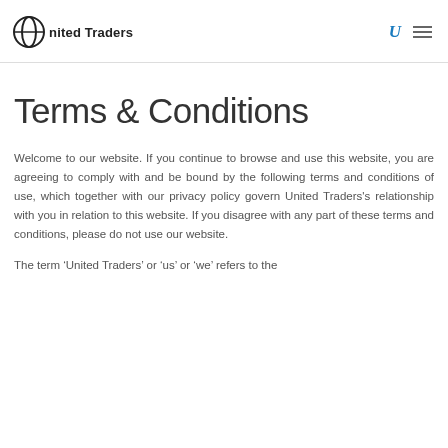United Traders
Terms & Conditions
Welcome to our website. If you continue to browse and use this website, you are agreeing to comply with and be bound by the following terms and conditions of use, which together with our privacy policy govern United Traders's relationship with you in relation to this website. If you disagree with any part of these terms and conditions, please do not use our website.
The term ‘United Traders’ or ‘us’ or ‘we’ refers to the